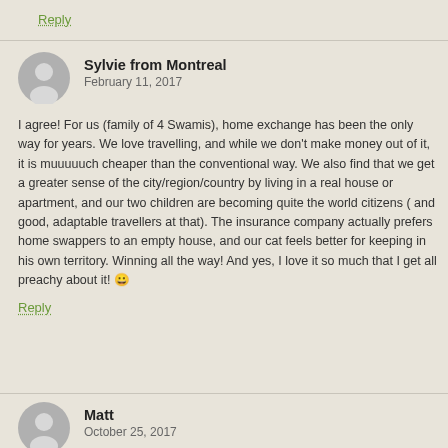Reply
Sylvie from Montreal
February 11, 2017

I agree! For us (family of 4 Swamis), home exchange has been the only way for years. We love travelling, and while we don't make money out of it, it is muuuuuch cheaper than the conventional way. We also find that we get a greater sense of the city/region/country by living in a real house or apartment, and our two children are becoming quite the world citizens ( and good, adaptable travellers at that). The insurance company actually prefers home swappers to an empty house, and our cat feels better for keeping in his own territory. Winning all the way! And yes, I love it so much that I get all preachy about it! 😀
Reply
Matt
October 25, 2017

Hi Sylvie,